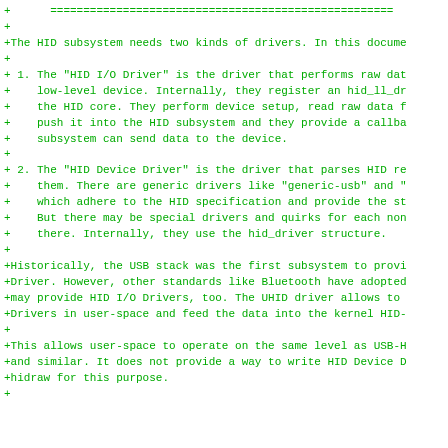+      ====================================================================
+
+The HID subsystem needs two kinds of drivers. In this docume
+
+ 1. The "HID I/O Driver" is the driver that performs raw dat
+    low-level device. Internally, they register an hid_ll_dr
+    the HID core. They perform device setup, read raw data f
+    push it into the HID subsystem and they provide a callba
+    subsystem can send data to the device.
+
+ 2. The "HID Device Driver" is the driver that parses HID re
+    them. There are generic drivers like "generic-usb" and "
+    which adhere to the HID specification and provide the st
+    But there may be special drivers and quirks for each non
+    there. Internally, they use the hid_driver structure.
+
+Historically, the USB stack was the first subsystem to provi
+Driver. However, other standards like Bluetooth have adopted
+may provide HID I/O Drivers, too. The UHID driver allows to
+Drivers in user-space and feed the data into the kernel HID-
+
+This allows user-space to operate on the same level as USB-H
+and similar. It does not provide a way to write HID Device D
+hidraw for this purpose.
+